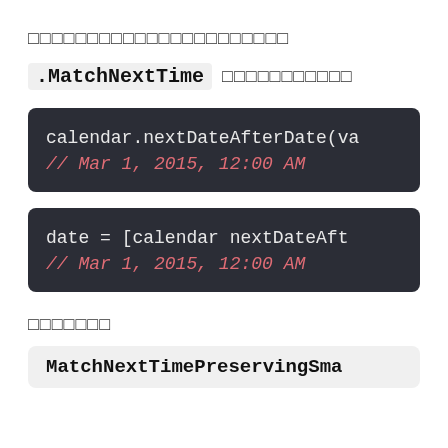□□□□□□□□□□□□□□□□□□□□□□
.MatchNextTime □□□□□□□□□□□
[Figure (screenshot): Dark code block showing: calendar.nextDateAfterDate(va  // Mar 1, 2015, 12:00 AM]
[Figure (screenshot): Dark code block showing: date = [calendar nextDateAft  // Mar 1, 2015, 12:00 AM]
□□□□□□□
[Figure (screenshot): Light code block showing: MatchNextTimePreservingSma]